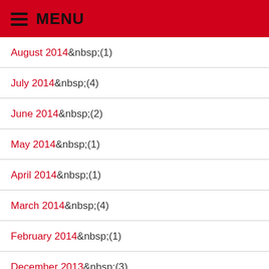MENU
August 2014 (1)
July 2014 (4)
June 2014 (2)
May 2014 (1)
April 2014 (1)
March 2014 (4)
February 2014 (1)
December 2013 (3)
November 2013 (3)